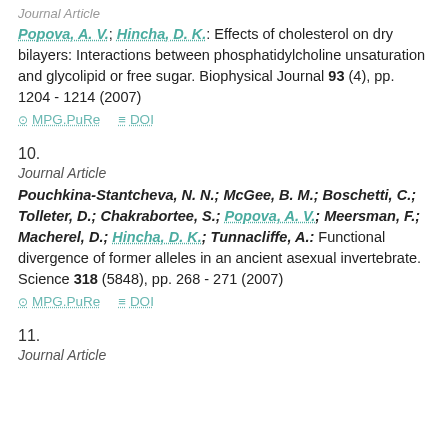Journal Article
Popova, A. V.; Hincha, D. K.: Effects of cholesterol on dry bilayers: Interactions between phosphatidylcholine unsaturation and glycolipid or free sugar. Biophysical Journal 93 (4), pp. 1204 - 1214 (2007)
MPG.PuRe   DOI
10.
Journal Article
Pouchkina-Stantcheva, N. N.; McGee, B. M.; Boschetti, C.; Tolleter, D.; Chakrabortee, S.; Popova, A. V.; Meersman, F.; Macherel, D.; Hincha, D. K.; Tunnacliffe, A.: Functional divergence of former alleles in an ancient asexual invertebrate. Science 318 (5848), pp. 268 - 271 (2007)
MPG.PuRe   DOI
11.
Journal Article